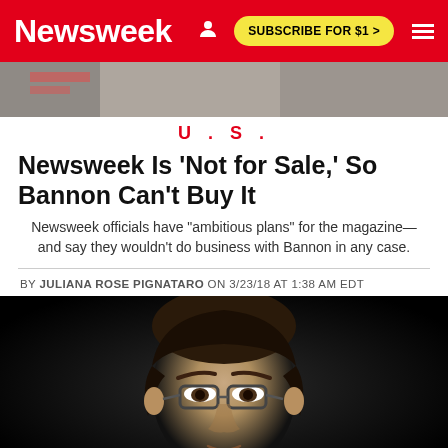Newsweek
[Figure (photo): Partial top banner image, blurred/cropped background]
U.S.
Newsweek Is 'Not for Sale,' So Bannon Can't Buy It
Newsweek officials have "ambitious plans" for the magazine—and say they wouldn't do business with Bannon in any case.
BY JULIANA ROSE PIGNATARO ON 3/23/18 AT 1:38 AM EDT
[Figure (photo): Close-up photo of a man with dark hair and glasses against a dark background]